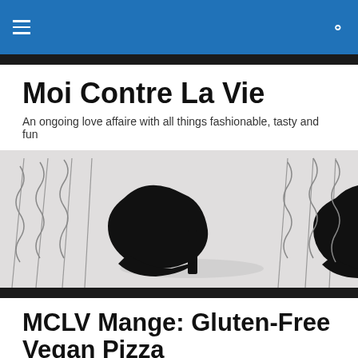Moi Contre La Vie — navigation bar
Moi Contre La Vie
An ongoing love affaire with all things fashionable, tasty and fun
[Figure (illustration): Black and white illustration of two high-heeled platform shoes against a staircase railing background]
MCLV Mange: Gluten-Free Vegan Pizza
No matter how healthy we are there will always be cravings. Yes, the hope is that our cravings will change for